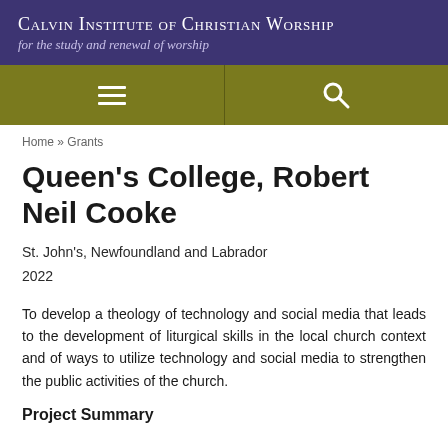Calvin Institute of Christian Worship
for the study and renewal of worship
Home » Grants
Queen's College, Robert Neil Cooke
St. John's, Newfoundland and Labrador
2022
To develop a theology of technology and social media that leads to the development of liturgical skills in the local church context and of ways to utilize technology and social media to strengthen the public activities of the church.
Project Summary